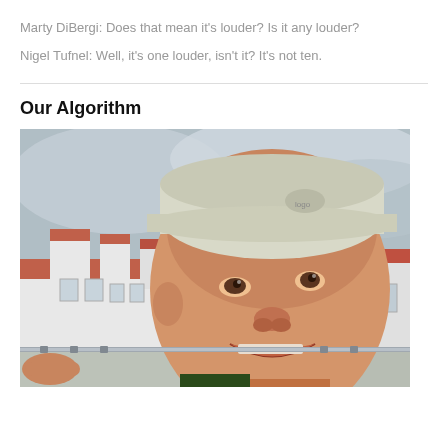Marty DiBergi: Does that mean it's louder? Is it any louder?
Nigel Tufnel: Well, it's one louder, isn't it? It's not ten.
Our Algorithm
[Figure (photo): Close-up photo of a man wearing a white/light green baseball cap, smiling, holding what appears to be a metal rod or flute in his mouth. Background shows a white building with red/brown roof and cloudy sky.]